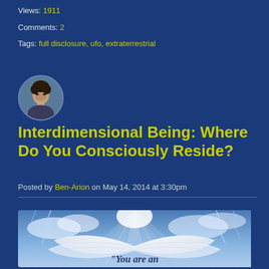Views: 1911
Comments: 2
Tags: full disclosure, ufo, extraterrestrial
[Figure (photo): Circular avatar photo of a young man looking downward, with dark background]
Interdimensional Being: Where Do You Consciously Reside?
Posted by Ben-Arion on May 14, 2014 at 3:30pm
[Figure (illustration): Mystical image of white angel wings spread wide with bright beams of light radiating upward, lightning in the background, and the text 'You are an' visible at the bottom]